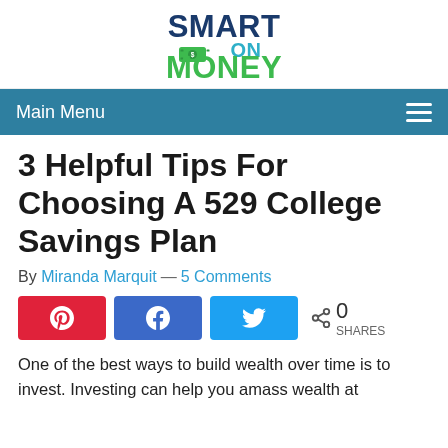[Figure (logo): Smart On Money logo — 'SMART' in dark blue bold, 'ON' in teal, 'MONEY' in green bold, with a green dollar-sign banknote icon]
Main Menu
3 Helpful Tips For Choosing A 529 College Savings Plan
By Miranda Marquit — 5 Comments
[Figure (infographic): Social share buttons: Pinterest (red), Facebook (blue), Twitter (light blue), and a share count showing 0 SHARES]
One of the best ways to build wealth over time is to invest. Investing can help you amass wealth at